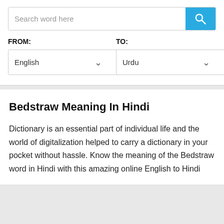Search word here
FROM:
TO:
English
Urdu
Bedstraw Meaning In Hindi
Dictionary is an essential part of individual life and the world of digitalization helped to carry a dictionary in your pocket without hassle. Know the meaning of the Bedstraw word in Hindi with this amazing online English to Hindi